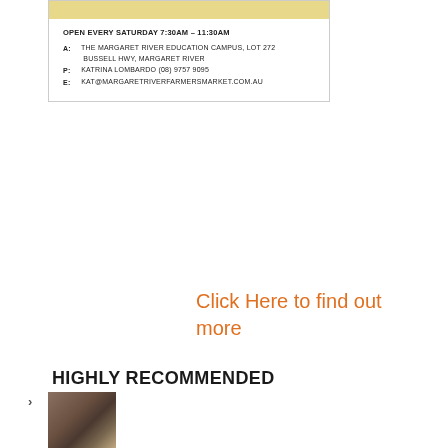[Figure (other): Farmers market information card with tan/yellow top bar showing open hours, address, phone, and email contact details]
Click Here to find out more
HIGHLY RECOMMENDED
[Figure (photo): Small thumbnail photo showing what appears to be framed artwork or prints]